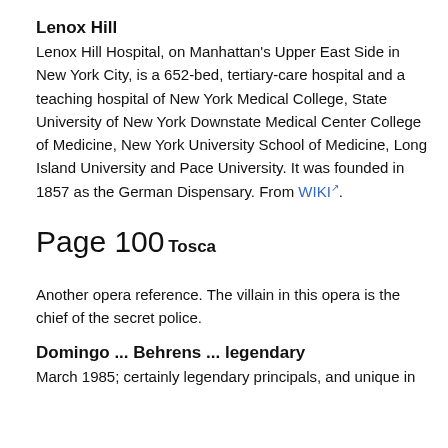Lenox Hill
Lenox Hill Hospital, on Manhattan's Upper East Side in New York City, is a 652-bed, tertiary-care hospital and a teaching hospital of New York Medical College, State University of New York Downstate Medical Center College of Medicine, New York University School of Medicine, Long Island University and Pace University. It was founded in 1857 as the German Dispensary. From WIKI.
Page 100
Tosca
Another opera reference. The villain in this opera is the chief of the secret police.
Domingo ... Behrens ... legendary
March 1985; certainly legendary principals, and unique in